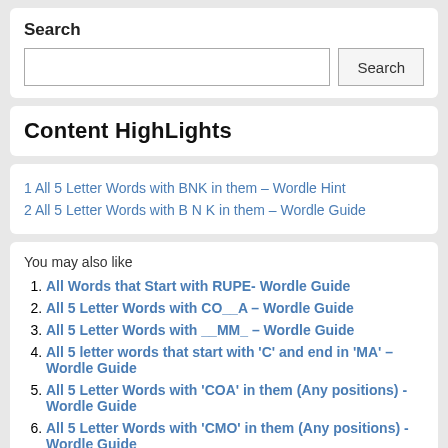Search
Search (input and button)
Content HighLights
1 All 5 Letter Words with BNK in them – Wordle Hint
2 All 5 Letter Words with B N K in them – Wordle Guide
You may also like
All Words that Start with RUPE- Wordle Guide
All 5 Letter Words with CO__A – Wordle Guide
All 5 Letter Words with __MM_ – Wordle Guide
All 5 letter words that start with 'C' and end in 'MA' – Wordle Guide
All 5 Letter Words with 'COA' in them (Any positions) - Wordle Guide
All 5 Letter Words with 'CMO' in them (Any positions) - Wordle Guide